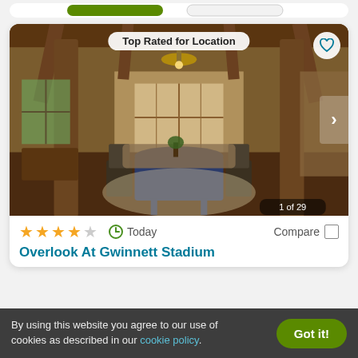[Figure (screenshot): Partial top area of a previous listing card showing two partially visible buttons]
[Figure (photo): Interior photo of a luxury home showing a grand living/dining area with wooden beam ceiling, large chandelier, French doors, dining table with chairs, and area rug. Badge reads 'Top Rated for Location'. Image counter shows '1 of 29'. Heart bookmark icon top right. Navigation arrow on right side.]
★★★★☆  Today  Compare
Overlook At Gwinnett Stadium
By using this website you agree to our use of cookies as described in our cookie policy.